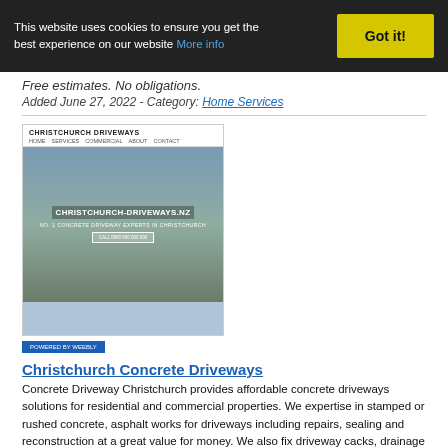This website uses cookies to ensure you get the best experience on our website More info | Got it!
Free estimates. No obligations.
Added June 27, 2022 - Category: Home Services
[Figure (screenshot): Screenshot of Christchurch Concrete Driveways website showing hero image of a concrete driveway with trees, navigation bar, and Weebly badge]
Christchurch Concrete Driveways
Concrete Driveway Christchurch provides affordable concrete driveways solutions for residential and commercial properties. We expertise in stamped or rushed concrete, asphalt works for driveways including repairs, sealing and reconstruction at a great value for money. We also fix driveway cacks, drainage problems, potholes, and deteriorated concrete. For best results always hire us. Our contractors have received complete license and certification to perform concreting and paving works. We work with strong ethical standards and always in compliance with state laws and regulations. We take on both small and big scale projects, include large governmental and commercial projects. Let's talk